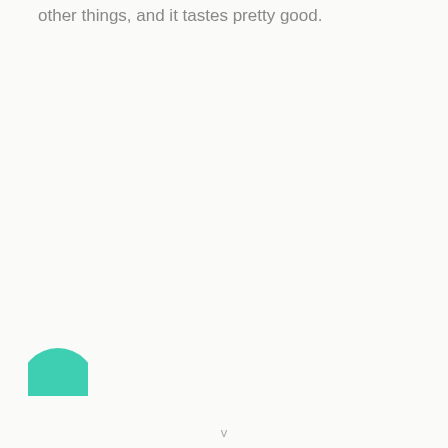other things, and it tastes pretty good.
[Figure (illustration): A teal/green semicircle or partial circle shape visible at the bottom-left corner of the page]
v